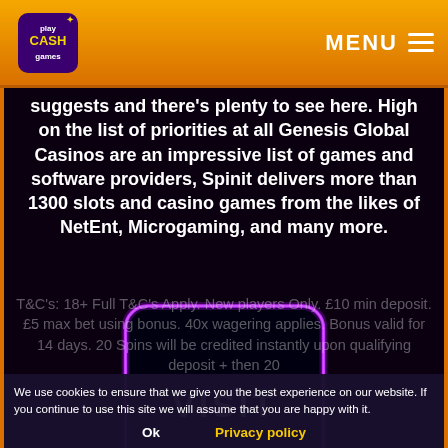play CASH games | MENU
suggests and there's plenty to see here. High on the list of priorities at all Genesis Global Casinos are an impressive list of games and software providers, Spinit delivers more than 1300 slots and casino games from the likes of NetEnt, Microgaming, and many more.
[Figure (other): Purple neon glowing rounded rectangle button with text VISIT]
T&C's: 18+ Full T&C's Apply. New players Only. £10 min deposit. £5 max bet using bonus. 40x wagering applies. Bonus valid for 14 days. 20 Spins will be credited instantly upon qualifying deposit + then 20
We use cookies to ensure that we give you the best experience on our website. If you continue to use this site we will assume that you are happy with it.
Ok | Privacy policy